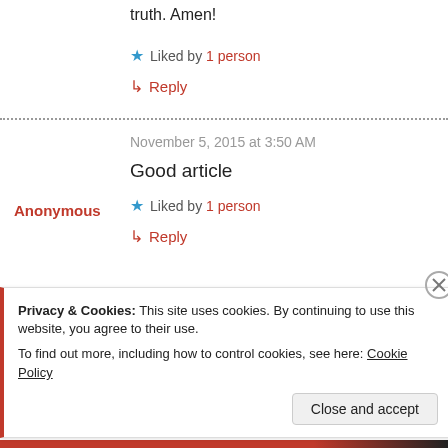truth. Amen!
★ Liked by 1 person
↳ Reply
November 5, 2015 at 3:50 AM
Good article
Anonymous
★ Liked by 1 person
↳ Reply
Privacy & Cookies: This site uses cookies. By continuing to use this website, you agree to their use. To find out more, including how to control cookies, see here: Cookie Policy
Close and accept